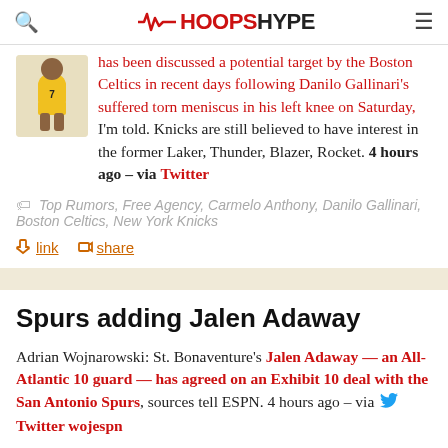HOOPSHYPE
has been discussed as a potential target by the Boston Celtics in recent days following Danilo Gallinari's suffered torn meniscus in his left knee on Saturday, I'm told. Knicks are still believed to have interest in the former Laker, Thunder, Blazer, Rocket. 4 hours ago – via Twitter
Top Rumors, Free Agency, Carmelo Anthony, Danilo Gallinari, Boston Celtics, New York Knicks
link  share
Spurs adding Jalen Adaway
Adrian Wojnarowski: St. Bonaventure's Jalen Adaway — an All-Atlantic 10 guard — has agreed on an Exhibit 10 deal with the San Antonio Spurs, sources tell ESPN. 4 hours ago – via Twitter wojespn